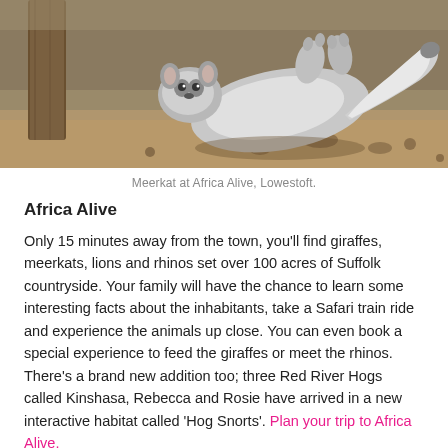[Figure (photo): A meerkat lying on its back in sandy/dirt ground near a wooden post, with grey fluffy fur visible.]
Meerkat at Africa Alive, Lowestoft.
Africa Alive
Only 15 minutes away from the town, you'll find giraffes, meerkats, lions and rhinos set over 100 acres of Suffolk countryside. Your family will have the chance to learn some interesting facts about the inhabitants, take a Safari train ride and experience the animals up close. You can even book a special experience to feed the giraffes or meet the rhinos. There's a brand new addition too; three Red River Hogs called Kinshasa, Rebecca and Rosie have arrived in a new interactive habitat called ‘Hog Snorts’. Plan your trip to Africa Alive.